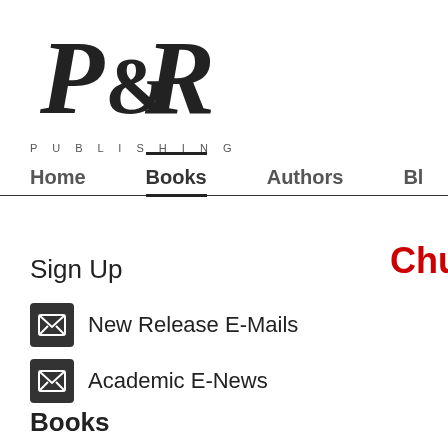[Figure (logo): P&R Publishing logo with stylized P&R letterforms and 'PUBLISHING' text below]
Home  Books  Authors  Bl
Chur
Sign Up
New Release E-Mails
Academic E-News
Books